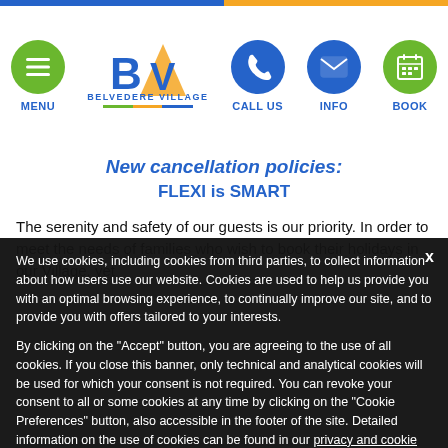[Figure (screenshot): Belvedere Village website navigation bar with menu, BV logo, call us, info, and book icons]
New cancellation policies:
FLEXI is SMART
The serenity and safety of our guests is our priority. In order to meet the needs of families who wish to book their holidays in our Village, yet
We use cookies, including cookies from third parties, to collect information about how users use our website. Cookies are used to help us provide you with an optimal browsing experience, to continually improve our site, and to provide you with offers tailored to your interests.

By clicking on the "Accept" button, you are agreeing to the use of all cookies. If you close this banner, only technical and analytical cookies will be used for which your consent is not required. You can revoke your consent to all or some cookies at any time by clicking on the "Cookie Preferences" button, also accessible in the footer of the site. Detailed information on the use of cookies can be found in our privacy and cookie policy.